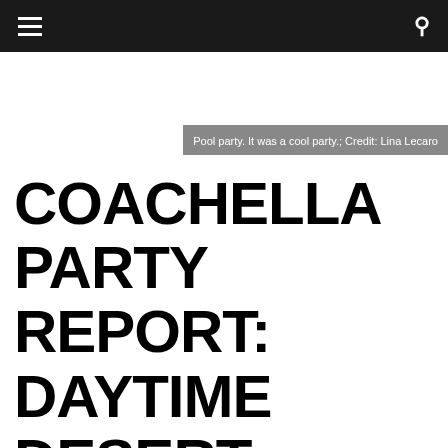☰ [navigation] 🔍
Pool party. It was a cool party.; Credit: Lina Lecaro
COACHELLA PARTY REPORT: DAYTIME DESERT DEBAUCHERY AT MIST, LACOSTE L!VE, VESTAL VILLAGE AND THE ACE HOTEL